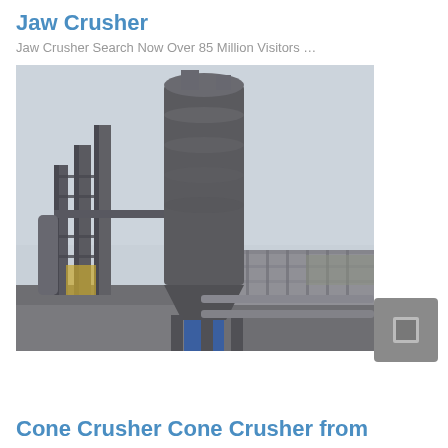Jaw Crusher
Jaw Crusher Search Now Over 85 Million Visitors …
[Figure (photo): Industrial crusher/cone crusher plant with tall cylindrical silos, steel framework, platforms, and pipework at an outdoor industrial facility under overcast skies.]
Cone Crusher Cone Crusher from